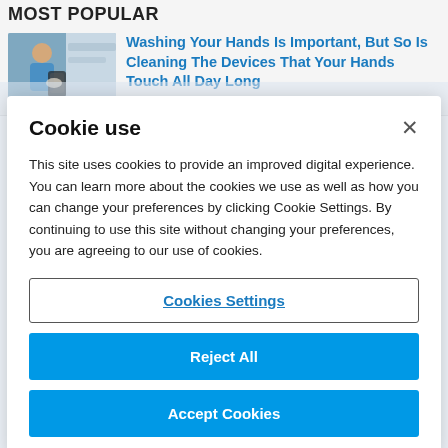MOST POPULAR
[Figure (photo): Thumbnail of a healthcare worker cleaning a phone/device]
Washing Your Hands Is Important, But So Is Cleaning The Devices That Your Hands Touch All Day Long
Cookie use
This site uses cookies to provide an improved digital experience. You can learn more about the cookies we use as well as how you can change your preferences by clicking Cookie Settings. By continuing to use this site without changing your preferences, you are agreeing to our use of cookies.
Cookies Settings
Reject All
Accept Cookies